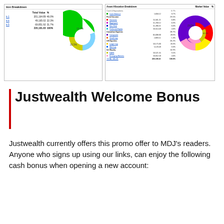[Figure (screenshot): Two side-by-side screenshots of portfolio allocation tables and donut charts. Left screenshot shows a table with allocation breakdown: rows for k-1 (201,164.89, 46.0%), k-b (49,165.02, 22.3%), k-5 (69,851.92, 31.7%), total 220,181.83 100%, with a donut chart showing green, yellow, and blue segments. Right screenshot shows a detailed asset allocation table with categories including Fixed Income, Canadian Equity, US Equity, Intl Equity, with various sub-items and a colorful donut chart.]
Justwealth Welcome Bonus
Justwealth currently offers this promo offer to MDJ's readers. Anyone who signs up using our links, can enjoy the following cash bonus when opening a new account: